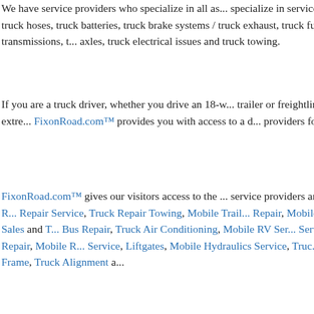We have service providers who specialize in all as... specialize in services ranging from repairs to truck hoses, truck batteries, truck brake systems / truck exhaust, truck fuel systems, truck transmissions, t... axles, truck electrical issues and truck towing.
If you are a truck driver, whether you drive an 18-w... trailer or freightliner, FixonRoad.com™ is an extre... FixonRoad.com™ provides you with access to a d... providers for truck drivers.
FixonRoad.com™ gives our visitors access to the ... service providers around. Our Truck Repair and R... Repair Service, Truck Repair Towing, Mobile Trail... Repair, Mobile Tire Service, Truck Tire Sales and T... Bus Repair, Truck Air Conditioning, Mobile RV Ser... Service, Bus Repair, Truck Glass Repair, Mobile R... Service, Liftgates, Mobile Hydraulics Service, Truc... Transfers, Truck Welding Frame, Truck Alignment a...
Tags: 18 wheelers, big rigs, cascadia, Emergency... service, Emergency road service, Emergency tru... on Road, FixonRoad.com™, freightliner, heavy ha... boys, Mobile mechanic services, Mobile road ser... mobile truck repair, Semi A/C repair, Semi repair s... repair, semi trucks, Tractor Trailer towing, tractor ... repair, truck stops, truck technology, Truck tire se... Posted in Road Service Locator, Truck Parts and...